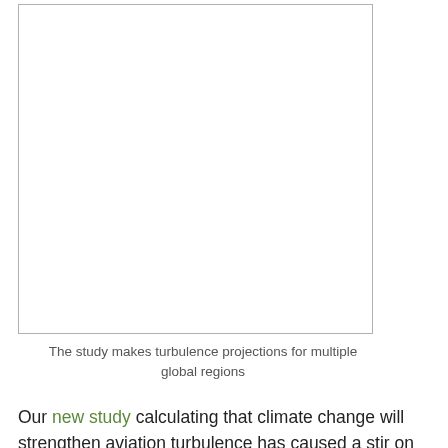[Figure (photo): A blank/white image placeholder with a thin border, representing a figure about turbulence projections for multiple global regions.]
The study makes turbulence projections for multiple global regions
Our new study calculating that climate change will strengthen aviation turbulence has caused a stir on social media. Most of the online comments about the article have been positive